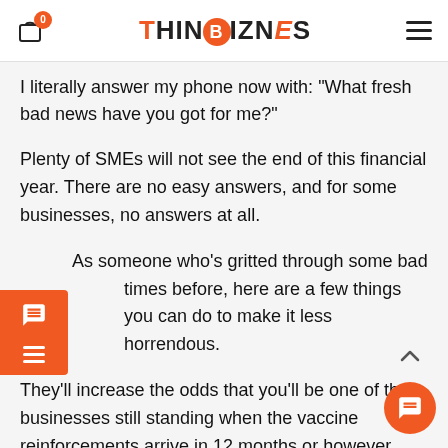THINBIZNES
I literally answer my phone now with: "What fresh bad news have you got for me?"
Plenty of SMEs will not see the end of this financial year. There are no easy answers, and for some businesses, no answers at all.
As someone who's gritted through some bad times before, here are a few things you can do to make it less horrendous.
They'll increase the odds that you'll be one of the businesses still standing when the vaccine reinforcements arrive in 12 months or however long it takes. This story is a bit longer than usual but is not the usual infotainment — this is serious.